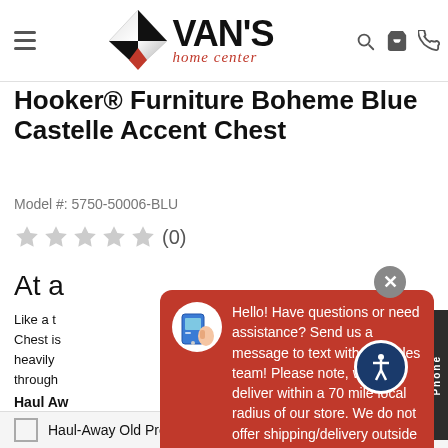Van's Home Center
Hooker® Furniture Boheme Blue Castelle Accent Chest
Model #: 5750-50006-BLU
★★★★★ (0)
At a
Like a t... Chest is... heavily... through...
[Figure (screenshot): Chat popup overlay from Van's Home Center website with red background. Contains phone/tablet icon, message text, and input field. Message reads: 'Hello! Have questions or need assistance? Send us a message to text with our sales team! Please note, we only deliver within a 70 mile local radius of our store. We do not offer shipping/delivery outside of that.' Input placeholder: 'Write your message...']
You M
Haul Away Old Product ($20 Fee